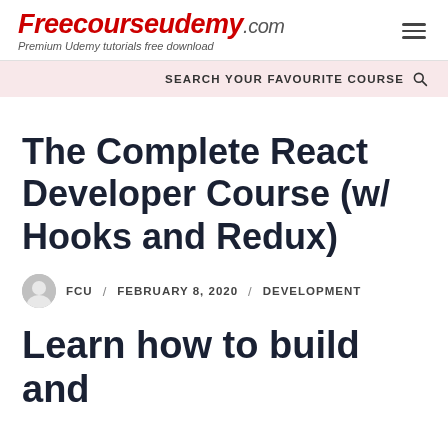Freecourseudemy.com — Premium Udemy tutorials free download
SEARCH YOUR FAVOURITE COURSE
The Complete React Developer Course (w/ Hooks and Redux)
FCU / FEBRUARY 8, 2020 / DEVELOPMENT
Learn how to build and